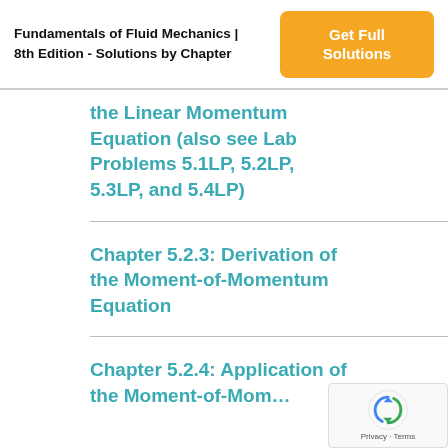Fundamentals of Fluid Mechanics | 8th Edition - Solutions by Chapter
the Linear Momentum Equation (also see Lab Problems 5.1LP, 5.2LP, 5.3LP, and 5.4LP)
Chapter 5.2.3: Derivation of the Moment-of-Momentum Equation
Chapter 5.2.4: Application of the Moment-of-Mom...